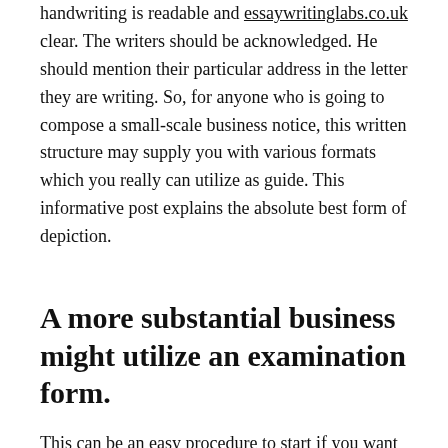handwriting is readable and essaywritinglabs.co.uk clear. The writers should be acknowledged. He should mention their particular address in the letter they are writing. So, for anyone who is going to compose a small-scale business notice, this written structure may supply you with various formats which you really can utilize as guide. This informative post explains the absolute best form of depiction.
A more substantial business might utilize an examination form.
This can be an easy procedure to start if you want to have right to the notion. Compose the previous title before the 1st title. The initial notice of the final name is considered with regard to producing the